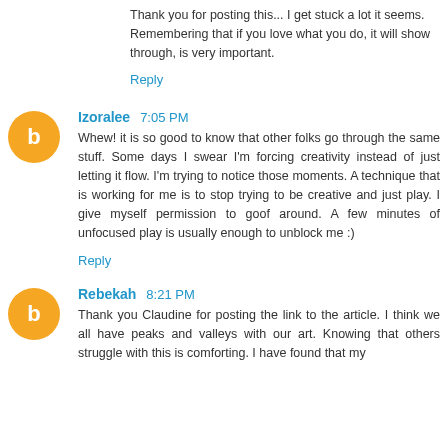Thank you for posting this... I get stuck a lot it seems. Remembering that if you love what you do, it will show through, is very important.
Reply
Izoralee 7:05 PM
Whew! it is so good to know that other folks go through the same stuff. Some days I swear I'm forcing creativity instead of just letting it flow. I'm trying to notice those moments. A technique that is working for me is to stop trying to be creative and just play. I give myself permission to goof around. A few minutes of unfocused play is usually enough to unblock me :)
Reply
Rebekah 8:21 PM
Thank you Claudine for posting the link to the article. I think we all have peaks and valleys with our art. Knowing that others struggle with this is comforting. I have found that my